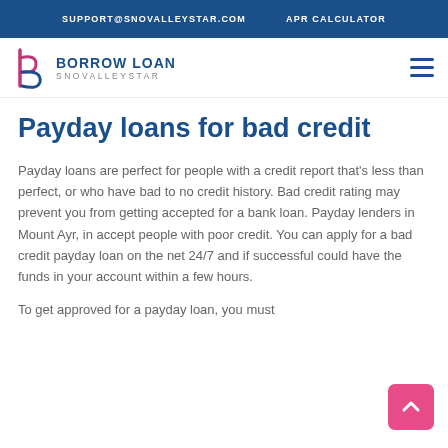SUPPORT@SNOVALLEYSTAR.COM   APR CALCULATOR
[Figure (logo): Borrow Loan SnoValleyStar logo with stylized b/p icon in pink/magenta and blue text]
Payday loans for bad credit
Payday loans are perfect for people with a credit report that's less than perfect, or who have bad to no credit history. Bad credit rating may prevent you from getting accepted for a bank loan. Payday lenders in Mount Ayr, in accept people with poor credit. You can apply for a bad credit payday loan on the net 24/7 and if successful could have the funds in your account within a few hours.
To get approved for a payday loan, you must